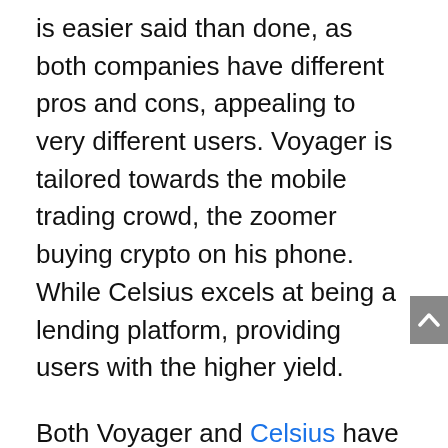is easier said than done, as both companies have different pros and cons, appealing to very different users. Voyager is tailored towards the mobile trading crowd, the zoomer buying crypto on his phone. While Celsius excels at being a lending platform, providing users with the higher yield.
Both Voyager and Celsius have their native tokens, which can be seen as investments. Both have unique and different use cases and should be considered based on fundamentals. Additionally both platforms have lackluster customer service, so there’s no winner in that field.